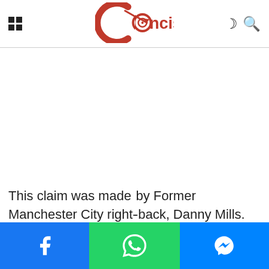Concise
[Figure (other): Advertisement / empty ad placeholder area]
This claim was made by Former Manchester City right-back, Danny Mills.
Social share buttons: Facebook, WhatsApp, Messenger